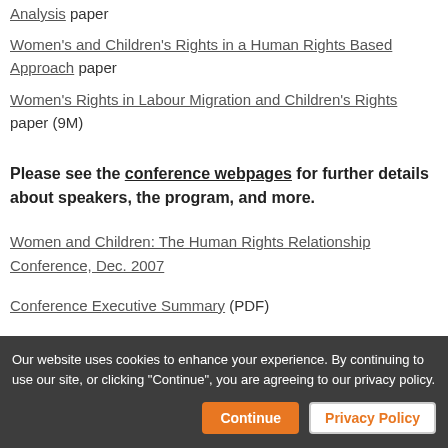Analysis paper
Women's and Children's Rights in a Human Rights Based Approach paper
Women's Rights in Labour Migration and Children's Rights paper (9M)
Please see the conference webpages for further details about speakers, the program, and more.
Women and Children: The Human Rights Relationship Conference, Dec. 2007
Conference Executive Summary (PDF)
Our website uses cookies to enhance your experience. By continuing to use our site, or clicking "Continue", you are agreeing to our privacy policy.